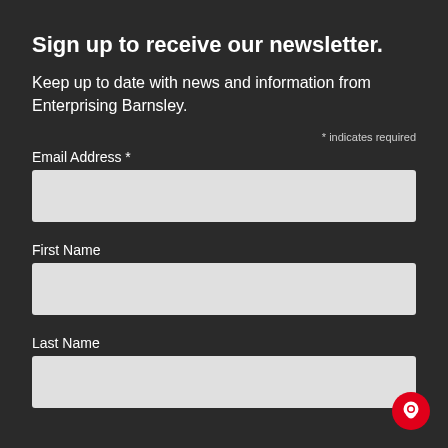Sign up to receive our newsletter.
Keep up to date with news and information from Enterprising Barnsley.
* indicates required
Email Address *
First Name
Last Name
[Figure (illustration): Red circular chat bubble icon in bottom-right corner]